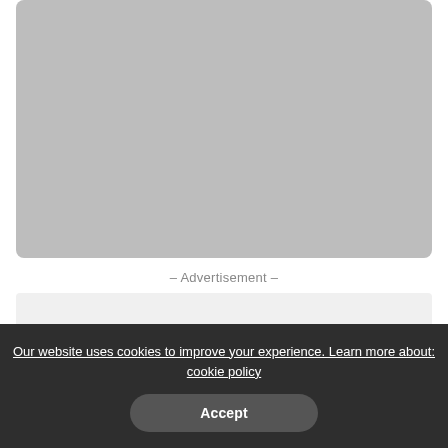[Figure (photo): Large gray placeholder image at the top of the page]
– Advertisement –
[Figure (photo): Smaller light gray placeholder image below advertisement label]
Our website uses cookies to improve your experience. Learn more about: cookie policy
Accept